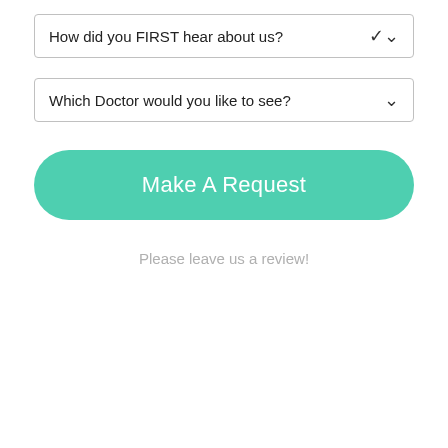How did you FIRST hear about us?
Which Doctor would you like to see?
Make A Request
Please leave us a review!